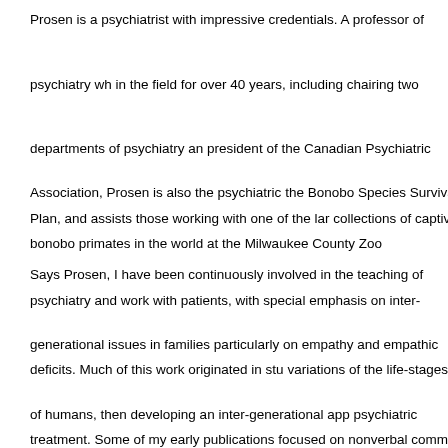Prosen is a psychiatrist with impressive credentials. A professor of psychiatry who has been in the field for over 40 years, including chairing two departments of psychiatry and serving as president of the Canadian Psychiatric Association, Prosen is also the psychiatric consultant for the Bonobo Species Survival Plan, and assists those working with one of the largest collections of captive bonobo primates in the world at the Milwaukee County Zoo.
Says Prosen, I have been continuously involved in the teaching of psychiatry and clinical work with patients, with special emphasis on inter-generational issues in families, focusing particularly on empathy and empathic deficits. Much of this work originated in studying variations of the life-stages of humans, then developing an inter-generational approach to psychiatric treatment. Some of my early publications focused on nonverbal communication and also variations in facial features under different emotional circumstances.
This interest in empathy prepared me for my work with primates, in particular bonobos who are thought to be the most empathic of all primates. It has allowed me to participate in the work of a group of primate experts studying bonobo culture and development and has also led to my receiving numerous consultations from the US and other parts of the world about psychological and other problems in primates, bonobos, and other species. Recently, the rehabilitation of a very disturbed young bonobo named Brian by my colleagues and I generated substantial publicity.
As I have indicated, what I bring to the synthesis . . . presented, in particular the bonobo hypothesis for human origins and the instinct versus intellect explanation for our human condition, are my confirming experiences and studies in empathy.
Prosen notes that the research that he and a number of his colleagues have been...